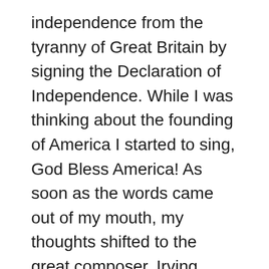independence from the tyranny of Great Britain by signing the Declaration of Independence. While I was thinking about the founding of America I started to sing, God Bless America! As soon as the words came out of my mouth, my thoughts shifted to the great composer, Irving Berlin, who actually wrote the American classic, “God Bless America.”
In 1918, Russian born Irving Berlin wrote a tune while serving in the United States Army. The tune never hit the mark so he threw it in the junk bin where it was forgotten over time.